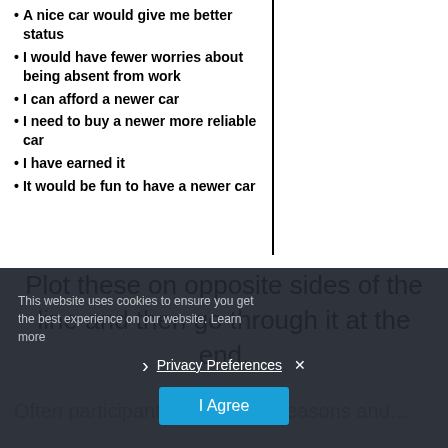A nice car would give me better status
I would have fewer worries about being absent from work
I can afford a newer car
I need to buy a newer more reliable car
I have earned it
It would be fun to have a newer car
Plot these on opposite sides of the line and then go through it at the end.
Often participants think of the reasons and…
This website uses cookies to ensure you get the best experience on our website. Learn more
Privacy Preferences
I Agree